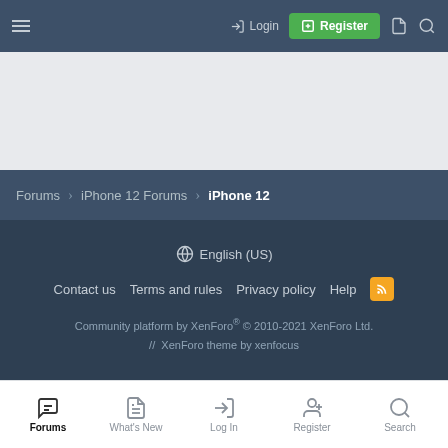Login  Register
[Figure (screenshot): Advertisement / empty gray area]
Forums > iPhone 12 Forums > iPhone 12
English (US)
Contact us  Terms and rules  Privacy policy  Help
Community platform by XenForo® © 2010-2021 XenForo Ltd. // XenForo theme by xenfocus
Forums  What's New  Log In  Register  Search